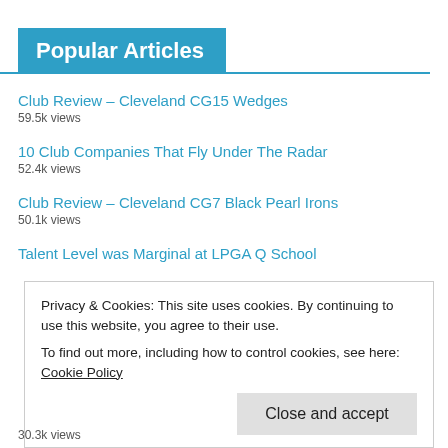Popular Articles
Club Review – Cleveland CG15 Wedges
59.5k views
10 Club Companies That Fly Under The Radar
52.4k views
Club Review – Cleveland CG7 Black Pearl Irons
50.1k views
Talent Level was Marginal at LPGA Q School
Privacy & Cookies: This site uses cookies. By continuing to use this website, you agree to their use.
To find out more, including how to control cookies, see here: Cookie Policy
30.3k views